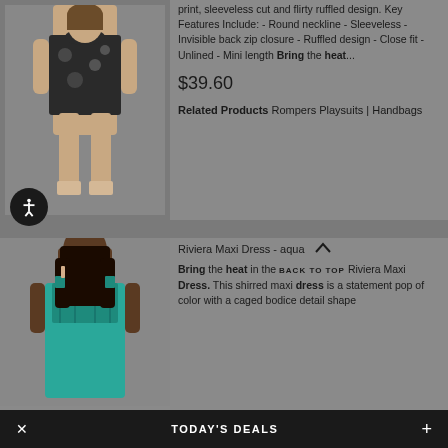[Figure (photo): Woman wearing black floral print romper with sleeveless ruffled design, standing pose showing full outfit]
print, sleeveless cut and flirty ruffled design. Key Features Include: - Round neckline - Sleeveless - Invisible back zip closure - Ruffled design - Close fit - Unlined - Mini length Bring the heat...
$39.60
Related Products Rompers Playsuits | Handbags
[Figure (photo): Woman wearing aqua/teal Riviera Maxi Dress with caged bodice detail, long flowing silhouette]
Riviera Maxi Dress - aqua
Bring the heat in the Riviera Maxi Dress. This shirred maxi dress is a statement pop of color with a caged bodice detail shape
BACK TO TOP
TODAY'S DEALS